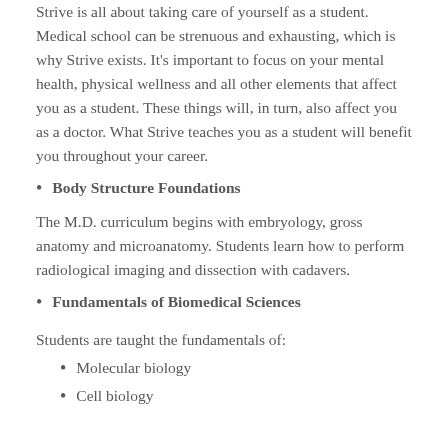Strive is all about taking care of yourself as a student. Medical school can be strenuous and exhausting, which is why Strive exists. It's important to focus on your mental health, physical wellness and all other elements that affect you as a student. These things will, in turn, also affect you as a doctor. What Strive teaches you as a student will benefit you throughout your career.
Body Structure Foundations
The M.D. curriculum begins with embryology, gross anatomy and microanatomy. Students learn how to perform radiological imaging and dissection with cadavers.
Fundamentals of Biomedical Sciences
Students are taught the fundamentals of:
Molecular biology
Cell biology